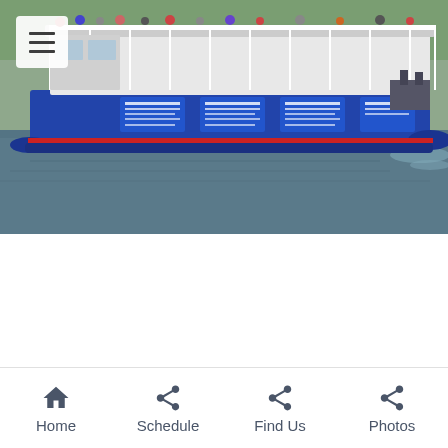[Figure (photo): A large blue and white tour/ferry boat on a river or waterway, with passengers visible on the upper open deck. The boat has blue signage panels on its sides and is shown moving through calm water with marshland visible in the background.]
Home  Schedule  Find Us  Photos